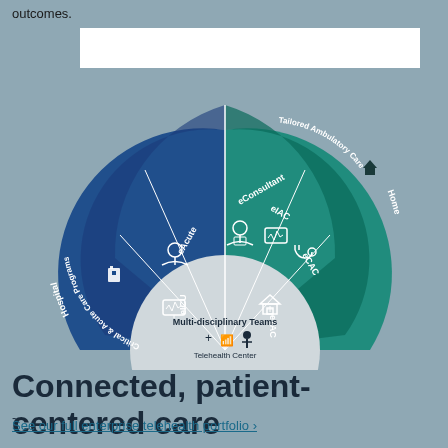outcomes.
[Figure (infographic): Semi-circular telehealth diagram showing Hospital (blue, left) with Critical & Acute Care Programs, eAcute, eConsultant, eICU sections, and Home (teal, right) with Tailored Ambulatory Care, eIAC, eCAC, eTAC sections, centered on Multi-disciplinary Teams / Telehealth Center]
Connected, patient-centered care
See our full enterprise telehealth portfolio ›